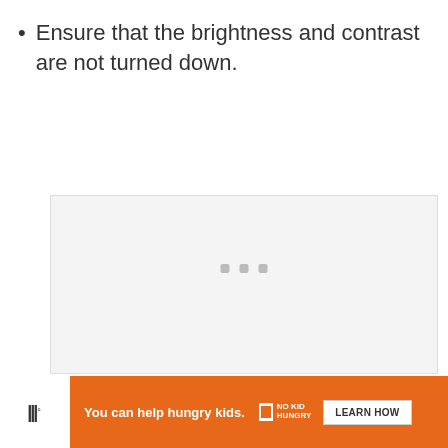Ensure that the brightness and contrast are not turned down.
[Figure (other): A large light gray placeholder box representing an image or video loading area, with three small gray dots centered near the bottom indicating a loading spinner or pagination.]
[Figure (other): An advertisement banner with orange background. Text reads 'You can help hungry kids.' with No Kid Hungry logo and a 'LEARN HOW' button. A close (X) button is in the top right corner. The Wired logo appears to the right of the ad.]